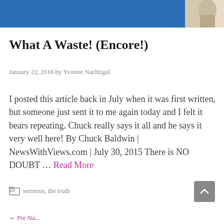[Figure (photo): Header image with blue background and partial view of a figure/statue in beige/cream tones on the right side]
What A Waste! (Encore!)
January 22, 2016 by Yvonne Nachtigal
I posted this article back in July when it was first written, but someone just sent it to me again today and I felt it bears repeating. Chuck really says it all and he says it very well here! By Chuck Baldwin | NewsWithViews.com | July 30, 2015 There is NO DOUBT … Read More
sermons, the truth